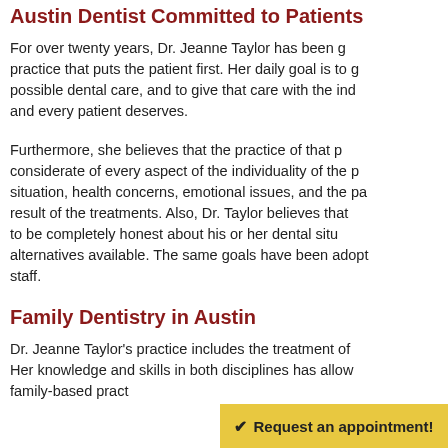Austin Dentist Committed to Patients
For over twenty years, Dr. Jeanne Taylor has been g... practice that puts the patient first. Her daily goal is to g... possible dental care, and to give that care with the ind... and every patient deserves.
Furthermore, she believes that the practice of that p... considerate of every aspect of the individuality of the p... situation, health concerns, emotional issues, and the pa... result of the treatments. Also, Dr. Taylor believes that ... to be completely honest about his or her dental situ... alternatives available. The same goals have been adopt... staff.
Family Dentistry in Austin
Dr. Jeanne Taylor's practice includes the treatment of... Her knowledge and skills in both disciplines has allow... family-based pract...
✔ Request an appointment!